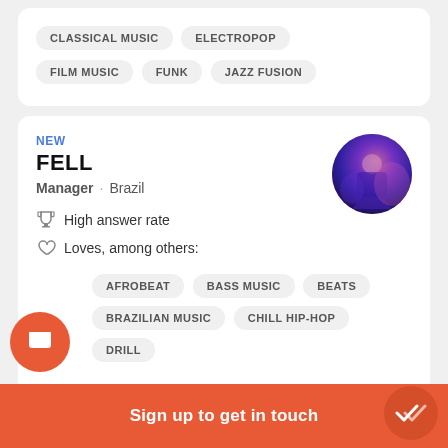CLASSICAL MUSIC
ELECTROPOP
FILM MUSIC
FUNK
JAZZ FUSION
NEW
FELL
Manager · Brazil
High answer rate
Loves, among others:
AFROBEAT
BASS MUSIC
BEATS
BRAZILIAN MUSIC
CHILL HIP-HOP
DRILL
Sign up to get in touch